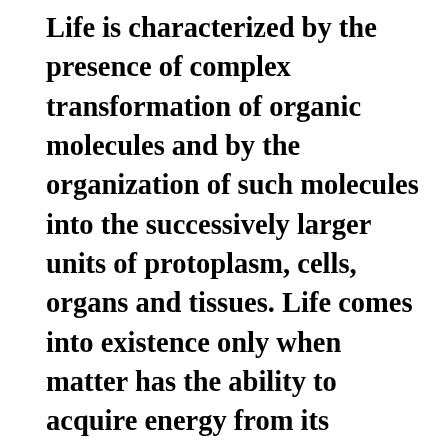Life is characterized by the presence of complex transformation of organic molecules and by the organization of such molecules into the successively larger units of protoplasm, cells, organs and tissues. Life comes into existence only when matter has the ability to acquire energy from its external environment. I would like to begin this dialectical inquiry by paying a tribute to people who have significantly contributed to the understanding of matter, and energy transformation in